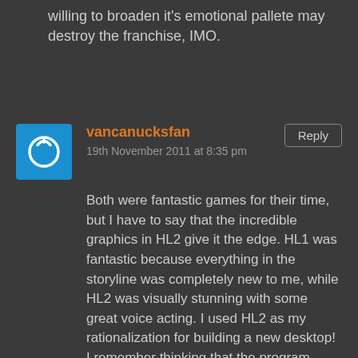willing to broaden it's emotional pallete may destroy the franchise, IMO.
vancanucksfan
19th November 2011 at 8:35 pm
Both were fantastic games for their time, but I have to say that the incredible graphics in HL2 give it the edge. HL1 was fantastic because everything in the storyline was completely new to me, while HL2 was visually stunning with some great voice acting. I used HL2 as my rationalization for building a new desktop! I remember thinking that the program wasn't working because I only saw a blurry screen at first, and then thinking "holy *%$#@#$" once it loaded!